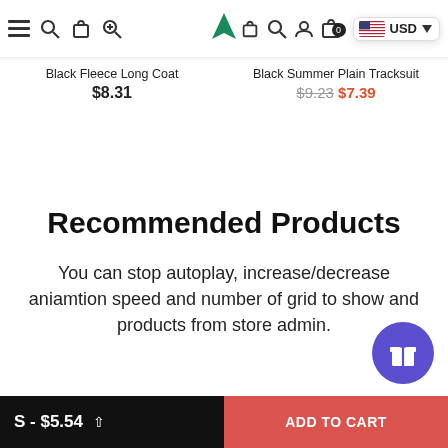Navigation bar with menu, search, cart icons, logo, and USD currency selector
Black Fleece Long Coat
$8.31
Black Summer Plain Tracksuit
$9.23 $7.39
Recommended Products
You can stop autoplay, increase/decrease aniamtion speed and number of grid to show and products from store admin.
S - $5.54  ADD TO CART